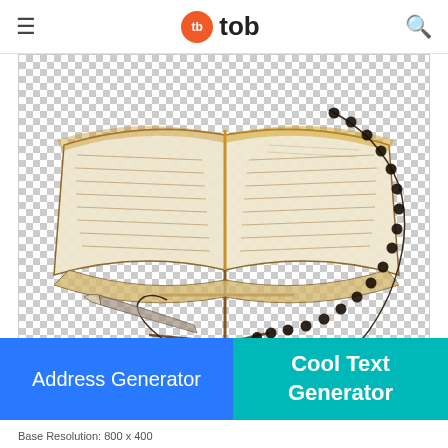tb tob
[Figure (illustration): Sketch illustration of an open Quran on a wooden stand with Islamic prayer beads (tasbih/misbaha) draped over it, drawn in a hand-sketched style with warm brown/gold coloring, shown on a transparent (checkerboard) background]
Address Generator
Cool Text Generator
Base Resolution: 800 x 400